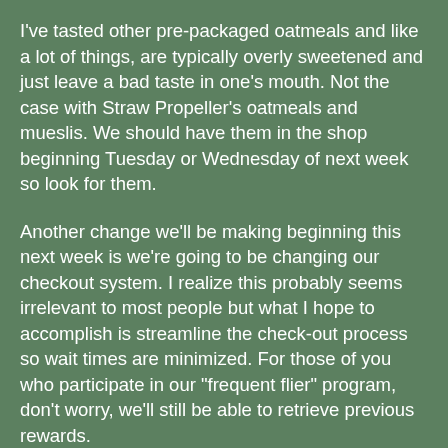I've tasted other pre-packaged oatmeals and like a lot of things, are typically overly sweetened and just leave a bad taste in one's mouth. Not the case with Straw Propeller's oatmeals and mueslis. We should have them in the shop beginning Tuesday or Wednesday of next week so look for them.
Another change we'll be making beginning this next week is we're going to be changing our checkout system. I realize this probably seems irrelevant to most people but what I hope to accomplish is streamline the check-out process so wait times are minimized. For those of you who participate in our "frequent flier" program, don't worry, we'll still be able to retrieve previous rewards.